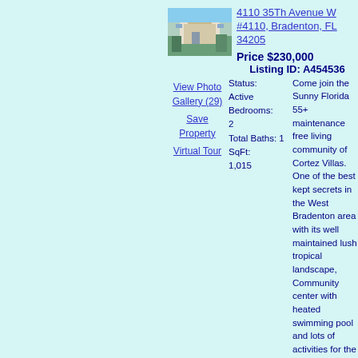[Figure (photo): Exterior photo of property at 4110 35Th Avenue W]
4110 35Th Avenue W #4110, Bradenton, FL 34205
Price $230,000
Listing ID: A454536
View Photo Gallery (29)
Save Property
Virtual Tour
Status: Active
Bedrooms: 2
Total Baths: 1
SqFt: 1,015
Come join the Sunny Florida 55+ maintenance free living community of Cortez Villas. One of the best kept secrets in the West Bradenton area with its well maintained lush tropical landscape, Community center with heated swimming pool and lots of activities for the residence. Affordable living close to the sugar sand beaches of Anna Maria Island, this 2 bedroom 1 bath unit is ideal for year round living or an affordable winter get-a-way. The unit is a coveted corner unit with addition windows to allow the sunshine to fill the space and create a bright living